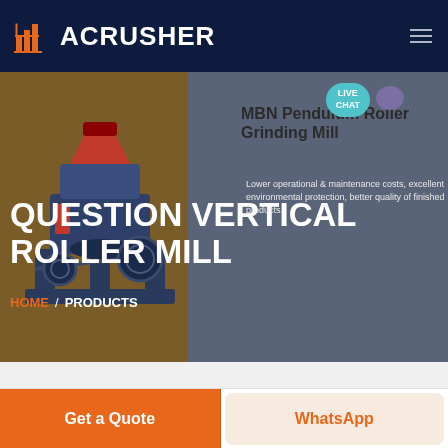ACRUSHER
QUESTION VERTICAL ROLLER MILL
MBN Pendulum Roller Grinding Mill
Lower operational & maintenance costs, excellent environmental protection, better quality of finished products.
HOME / PRODUCTS
[Figure (screenshot): Live Chat button with teal/cyan bubble and chat icon]
[Figure (photo): Industrial vertical roller mill machine, dark blue/grey metallic with red accents]
Get a Quote
WhatsApp